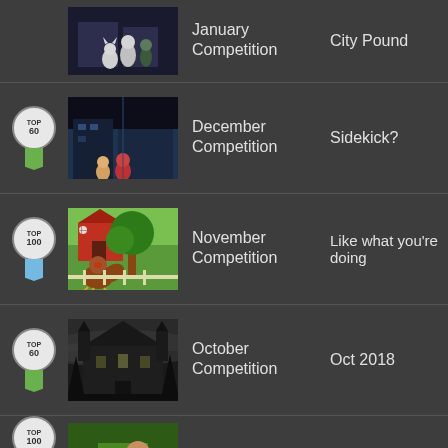January Competition | City Pound
December Competition | Sidekick?
November Competition | Like what you're doing
October Competition | Oct 2018
(partial row at bottom)